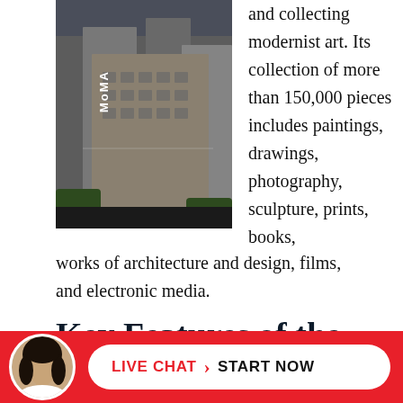[Figure (photo): Exterior photo of MoMA building with 'MoMA' lettering visible on facade, surrounded by tall buildings, urban street view]
and collecting modernist art. Its collection of more than 150,000 pieces includes paintings, drawings, photography, sculpture, prints, books, works of architecture and design, films, and electronic media.
Key Features of the Museum of Modern Art
From its early days of
Table of Contents [show]
[Figure (photo): Live chat widget with avatar photo of a woman with dark hair, red background bar, white pill-shaped button with LIVE CHAT > START NOW text]